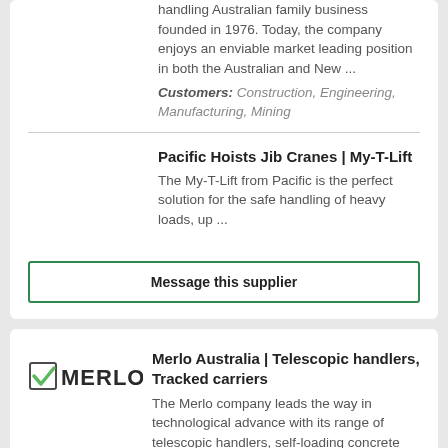handling Australian family business founded in 1976. Today, the company enjoys an enviable market leading position in both the Australian and New ...
Customers: Construction, Engineering, Manufacturing, Mining
Pacific Hoists Jib Cranes | My-T-Lift
The My-T-Lift from Pacific is the perfect solution for the safe handling of heavy loads, up ...
Message this supplier
Merlo Australia | Telescopic handlers, Tracked carriers
The Merlo company leads the way in technological advance with its range of telescopic handlers, self-loading concrete